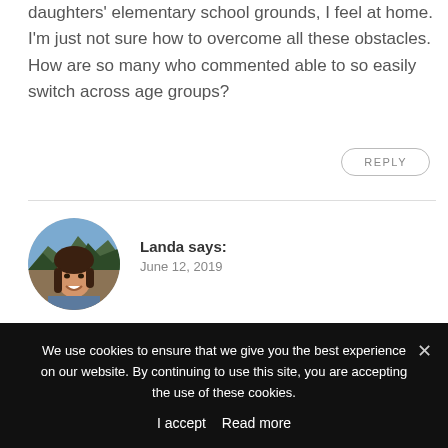daughters' elementary school grounds, I feel at home. I'm just not sure how to overcome all these obstacles. How are so many who commented able to so easily switch across age groups?
REPLY
[Figure (photo): Circular avatar photo of a young woman with braids, smiling outdoors with trees and mountains in the background]
Landa says:
June 12, 2019
Hey Amy! I'm not sure where many of these
We use cookies to ensure that we give you the best experience on our website. By continuing to use this site, you are accepting the use of these cookies.
I accept  Read more